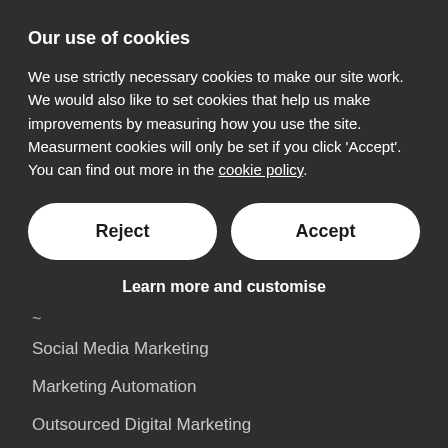Our use of cookies
We use strictly necessary cookies to make our site work. We would also like to set cookies that help us make improvements by measuring how you use the site. Measurment cookies will only be set if you click 'Accept'. You can find out more in the cookie policy.
Reject
Accept
Learn more and customise
Social Media Marketing
Marketing Automation
Outsourced Digital Marketing
ECOMMERCE
Ecommerce Solutions
Ecommerce Integrations